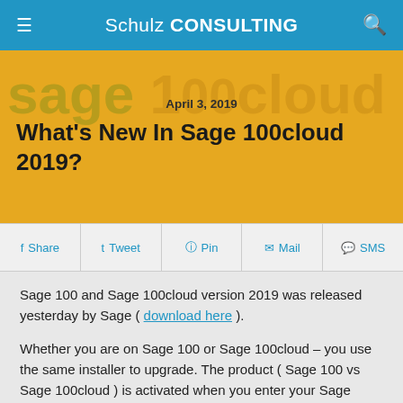Schulz CONSULTING
What's New In Sage 100cloud 2019?
April 3, 2019
Share  Tweet  Pin  Mail  SMS
Sage 100 and Sage 100cloud version 2019 was released yesterday by Sage ( download here ).
Whether you are on Sage 100 or Sage 100cloud – you use the same installer to upgrade. The product ( Sage 100 vs Sage 100cloud ) is activated when you enter your Sage registration keys.